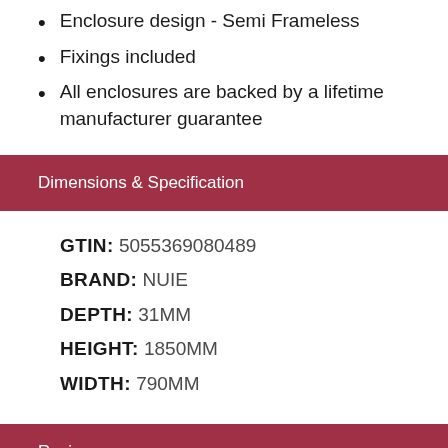Enclosure design - Semi Frameless
Fixings included
All enclosures are backed by a lifetime manufacturer guarantee
Dimensions & Specification
GTIN: 5055369080489
BRAND: NUIE
DEPTH: 31MM
HEIGHT: 1850MM
WIDTH: 790MM
Reviews